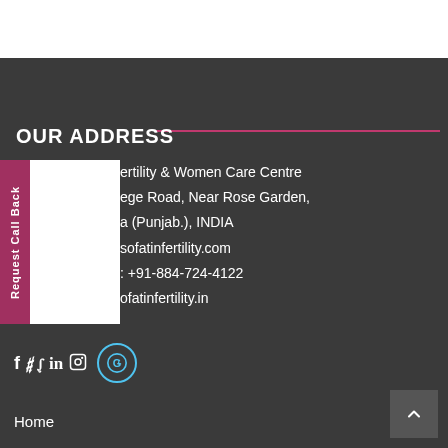OUR ADDRESS
ertility & Women Care Centre
ege Road, Near Rose Garden,
a (Punjab.), INDIA
sofatinfertility.com
: +91-884-724-4122
ofatinfertility.in
[Figure (illustration): Social media icons: Facebook (f), Twitter, LinkedIn (in), Instagram, and a circular Google icon with 'G' letter]
Home
Meet Dr. Sumita Sofat
Team of Doctors